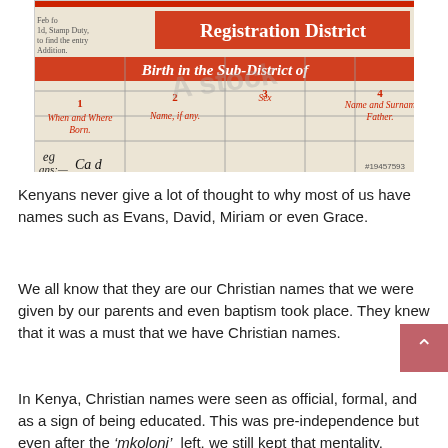[Figure (photo): A photograph of a historical birth registration document with red printed headers reading 'Registration District' and 'Birth in the Sub-District of', with numbered columns for 'When and Where Born', 'Name, if any', 'Sex', 'Name and Surname of Father'. There is an Alamy watermark overlaid and stock number #19457593 in the lower right.]
Kenyans never give a lot of thought to why most of us have names such as Evans, David, Miriam or even Grace.
We all know that they are our Christian names that we were given by our parents and even baptism took place. They knew that it was a must that we have Christian names.
In Kenya, Christian names were seen as official, formal, and as a sign of being educated. This was pre-independence but even after the 'mkoloni' left, we still kept that mentality.
In recent times, however, things have changed and Kenyans are slowly dropping their first names. Here are